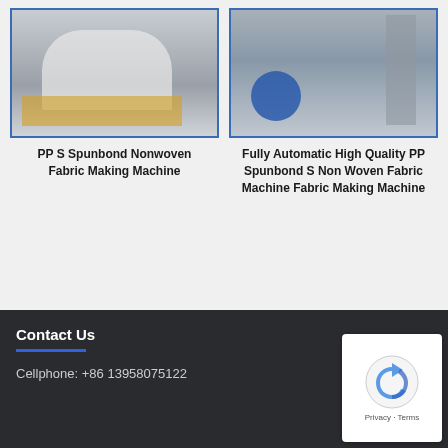[Figure (photo): Industrial PP Spunbond Nonwoven Fabric Making Machine in a factory, showing a large roll of white fabric on machinery with yellow metal frame.]
PP S Spunbond Nonwoven Fabric Making Machine
[Figure (photo): Fully automatic PP Spunbond S Non Woven Fabric Machine in a factory, showing stairs, blue barrels on orange pallet, and industrial equipment.]
Fully Automatic High Quality PP Spunbond S Non Woven Fabric Machine Fabric Making Machine
Contact Us
Cellphone: +86 13958075122